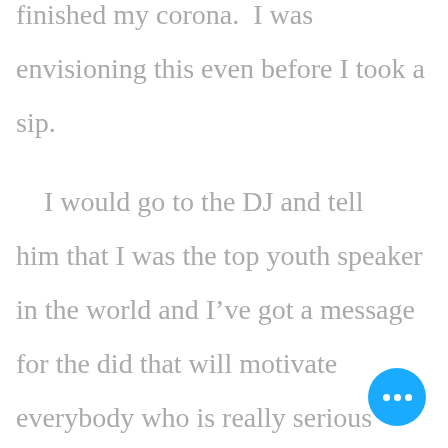finished my corona. I was envisioning this even before I took a sip.

I would go to the DJ and tell him that I was the top youth speaker in the world and I've got a message for the did that will motivate everybody who is really serious about living their dream, despite the fact
[Figure (other): Blue circular button with three white dots (more/options button) in bottom-right corner]